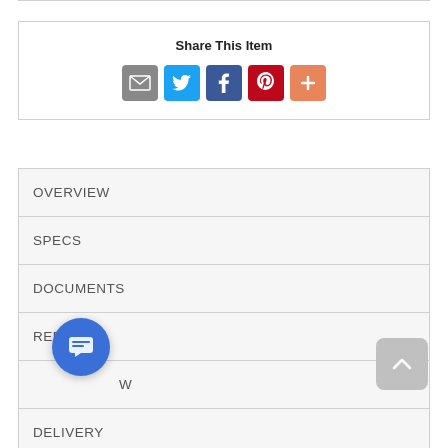Share This Item
[Figure (infographic): Social share icons: Email (grey), Twitter (blue), Facebook (dark blue), Pinterest (red), More (orange)]
OVERVIEW
SPECS
DOCUMENTS
REBATES
W...
DELIVERY